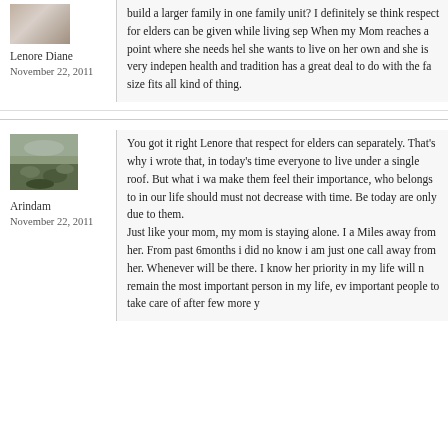Lenore Diane
November 22, 2011
build a larger family in one family unit? I definitely se think respect for elders can be given while living sep When my Mom reaches a point where she needs hel she wants to live on her own and she is very indepen health and tradition has a great deal to do with the fa size fits all kind of thing.
[Figure (photo): Avatar image for Arindam]
Arindam
November 22, 2011
You got it right Lenore that respect for elders can separately. That's why i wrote that, in today's time everyone to live under a single roof. But what i wa make them feel their importance, who belongs to in our life should must not decrease with time. Be today are only due to them. Just like your mom, my mom is staying alone. I a Miles away from her. From past 6months i did no know i am just one call away from her. Whenever will be there. I know her priority in my life will n remain the most important person in my life, ev important people to take care of after few more y